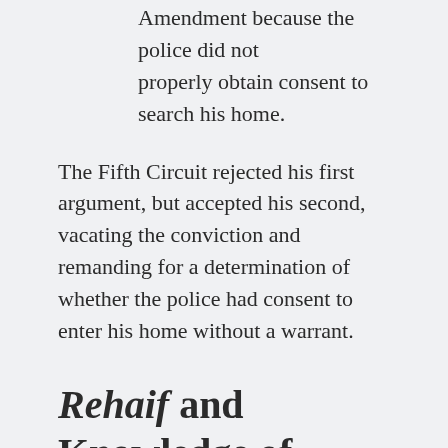Amendment because the police did not properly obtain consent to search his home.
The Fifth Circuit rejected his first argument, but accepted his second, vacating the conviction and remanding for a determination of whether the police had consent to enter his home without a warrant.
Rehaif and Knowledge of Felon Status
Section 922 defines a crime: “It shall be unlawful for any person . . . who has been convicted in any court of a crime punishable by